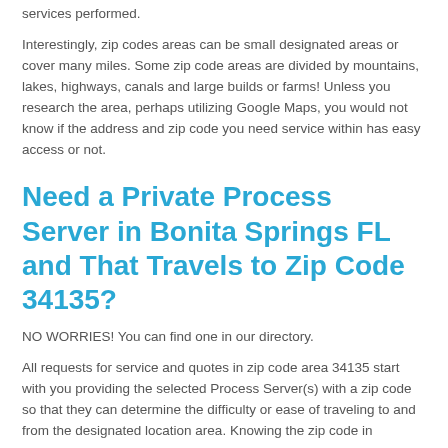services performed.
Interestingly, zip codes areas can be small designated areas or cover many miles. Some zip code areas are divided by mountains, lakes, highways, canals and large builds or farms! Unless you research the area, perhaps utilizing Google Maps, you would not know if the address and zip code you need service within has easy access or not.
Need a Private Process Server in Bonita Springs FL and That Travels to Zip Code 34135?
NO WORRIES! You can find one in our directory.
All requests for service and quotes in zip code area 34135 start with you providing the selected Process Server(s) with a zip code so that they can determine the difficulty or ease of traveling to and from the designated location area. Knowing the zip code in